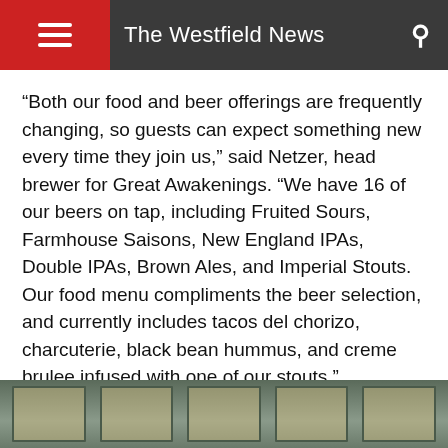The Westfield News
“Both our food and beer offerings are frequently changing, so guests can expect something new every time they join us,” said Netzer, head brewer for Great Awakenings. “We have 16 of our beers on tap, including Fruited Sours, Farmhouse Saisons, New England IPAs, Double IPAs, Brown Ales, and Imperial Stouts. Our food menu compliments the beer selection, and currently includes tacos del chorizo, charcuterie, black bean hummus, and creme brulee infused with one of our stouts.”
Everyone at Great Awakenings follows strict COVID guidelines to ensure the safety of customers.
[Figure (photo): Interior photo of Great Awakenings brewery showing windows with natural light]